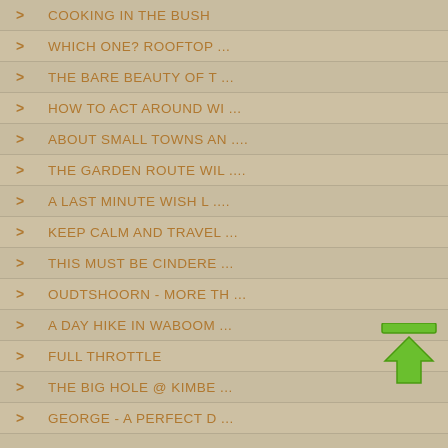> COOKING IN THE BUSH
> WHICH ONE? ROOFTOP ...
> THE BARE BEAUTY OF T ...
> HOW TO ACT AROUND WI ...
> ABOUT SMALL TOWNS AN ....
> THE GARDEN ROUTE WIL ....
> A LAST MINUTE WISH L ....
> KEEP CALM AND TRAVEL ...
> THIS MUST BE CINDERE ...
> OUDTSHOORN - MORE TH ...
> A DAY HIKE IN WABOOM ...
> FULL THROTTLE
> THE BIG HOLE @ KIMBE ...
> GEORGE - A PERFECT D ...